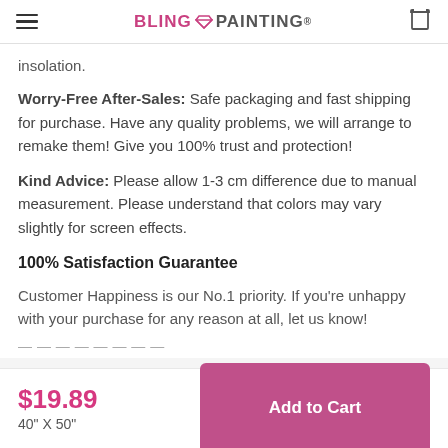BLING PAINTING®
insolation.
Worry-Free After-Sales: Safe packaging and fast shipping for purchase. Have any quality problems, we will arrange to remake them! Give you 100% trust and protection!
Kind Advice: Please allow 1-3 cm difference due to manual measurement. Please understand that colors may vary slightly for screen effects.
100% Satisfaction Guarantee
Customer Happiness is our No.1 priority. If you're unhappy with your purchase for any reason at all, let us know!
$19.89
40" X 50"